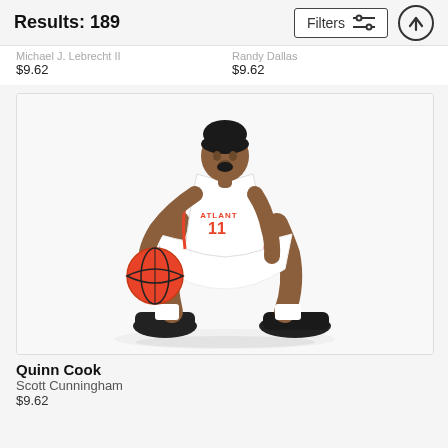Results: 189
Michael J. Lebrecht II  $9.62 | Randy Dallas  $9.62
[Figure (photo): Basketball player Quinn Cook wearing Atlanta Hawks white jersey number 11, dribbling a basketball in a crouched stance against a white background. Photo by Scott Cunningham.]
Quinn Cook
Scott Cunningham
$9.62